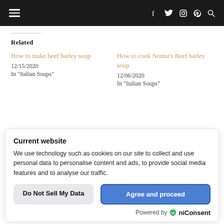Navigation header with hamburger menu and social icons (f, twitter, instagram, pinterest, search)
Related
How to make beef barley soup
12/15/2020
In "Italian Soups"
How to cook Nonna's Beef barley soup
12/06/2020
In "Italian Soups"
Current website
We use technology such as cookies on our site to collect and use personal data to personalise content and ads, to provide social media features and to analyse our traffic.
Do Not Sell My Data
Agree and proceed
Powered by UniConsent